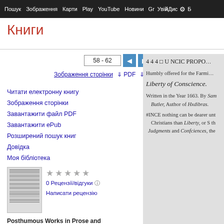Пошук  Зображення  Карти  Play  YouTube  Новини  Gmail  Диск  ⚙  Б
Книги
58 - 62
Зображення сторінки  ↓ PDF  ↓ ePub
Читати електронну книгу
Зображення сторінки
Завантажити файл PDF
Завантажити ePub
Розширений пошук книг
Довідка
Моя бібліотека
[Figure (screenshot): Thumbnail of book page]
★★★★★  0 Рецензії/відгуки ⓘ  Написати рецензію
Posthumous Works in Prose and Verse: Written in the Time of the Civil W...
[Figure (screenshot): Scanned book page showing: 4 4 4 □ U NCIC PROPO... Humbly offered for the Farmin... Liberty of Conscience. Written in the Year 1663. By Sam Butler, Author of Hxdibras. #INCE nothing can be dearer unt Christians than Liberty, or S th Judgments and Confciences, the]